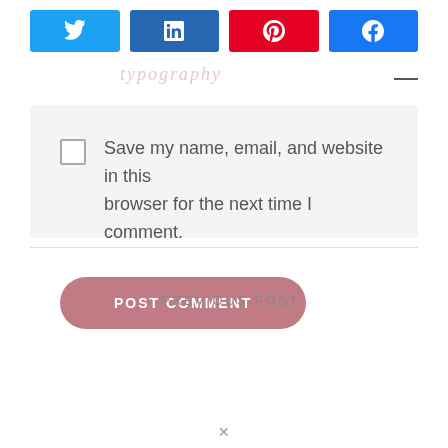[Figure (infographic): Social share buttons row: Twitter (light blue), LinkedIn (dark blue), Pinterest (red), Facebook (blue), each with respective icon]
typography
Save my name, email, and website in this browser for the next time I comment.
POST COMMENT
< PREVIOUS POST